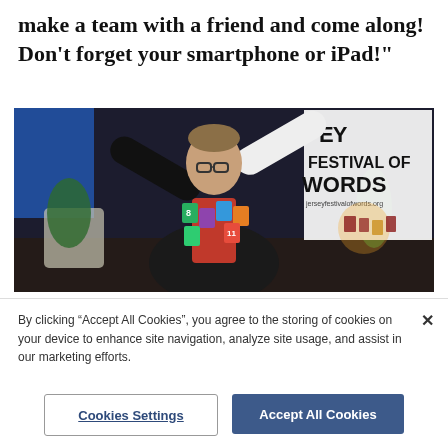make a team with a friend and come along! Don't forget your smartphone or iPad!"
[Figure (photo): A man in a black academic gown and red vest stands on a stage with arms raised wide, with numbered pieces of paper pinned to his gown. Behind him is a banner reading 'Jersey Festival of Words' with the website jerseyfestivalofwords.org and an illustration of colorful books.]
By clicking “Accept All Cookies”, you agree to the storing of cookies on your device to enhance site navigation, analyze site usage, and assist in our marketing efforts.
Cookies Settings
Accept All Cookies